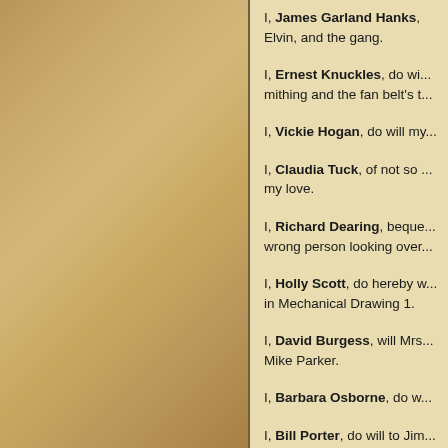I, James Garland Hanks, Elvin, and the gang.
I, Ernest Knuckles, do wi... mithing and the fan belt's t...
I, Vickie Hogan, do will my...
I, Claudia Tuck, of not so ... my love.
I, Richard Dearing, beque... wrong person looking over...
I, Holly Scott, do hereby w... in Mechanical Drawing 1.
I, David Burgess, will Mrs... Mike Parker.
I, Barbara Osborne, do w...
I, Bill Porter, do will to Jim...
I, Ronnie Driskill, do will...